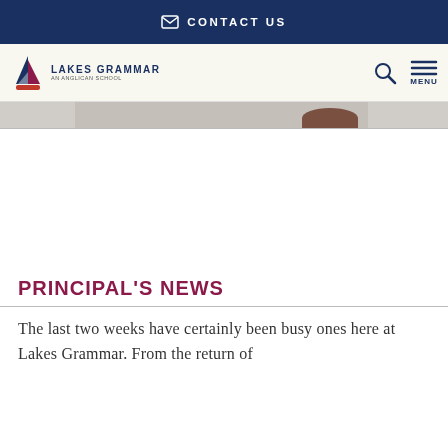CONTACT US
[Figure (logo): Lakes Grammar Anglican School logo with sailboat icon and text 'LAKES GRAMMAR Anglican School']
[Figure (screenshot): Partial cropped image showing top of a person's head with dark hair, against a light grey background]
PRINCIPAL'S NEWS
The last two weeks have certainly been busy ones here at Lakes Grammar. From the return of